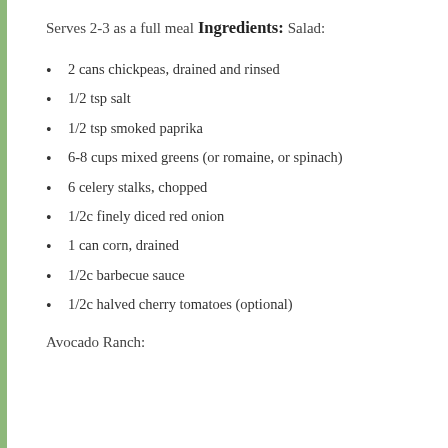Serves 2-3 as a full meal
Ingredients:
Salad:
2 cans chickpeas, drained and rinsed
1/2 tsp salt
1/2 tsp smoked paprika
6-8 cups mixed greens (or romaine, or spinach)
6 celery stalks, chopped
1/2c finely diced red onion
1 can corn, drained
1/2c barbecue sauce
1/2c halved cherry tomatoes (optional)
Avocado Ranch: